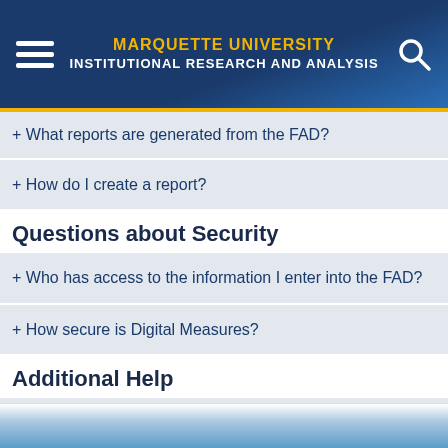MARQUETTE UNIVERSITY INSTITUTIONAL RESEARCH AND ANALYSIS
+ What reports are generated from the FAD?
+ How do I create a report?
Questions about Security
+ Who has access to the information I enter into the FAD?
+ How secure is Digital Measures?
Additional Help
+ Who do I contact with questions about the Faculty Activities Database?
[Figure (photo): Blue sky/clouds background image strip at bottom of page]